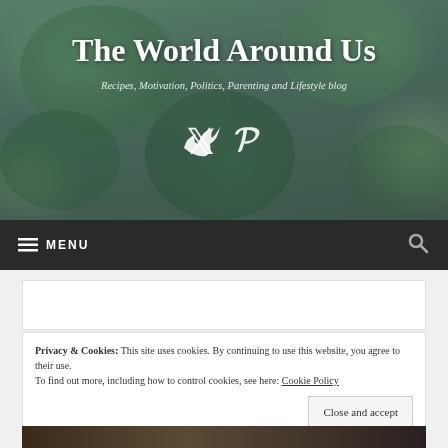[Figure (photo): Succulent plant background with dark green leaves, used as hero banner image]
The World Around Us
Recipes, Motivation, Politics, Parenting and Lifestyle blog
[Figure (illustration): Twitter and Pinterest social media icons in white]
≡ MENU
Privacy & Cookies: This site uses cookies. By continuing to use this website, you agree to their use.
To find out more, including how to control cookies, see here: Cookie Policy
Close and accept
[Figure (photo): Partial photo visible at bottom of page]